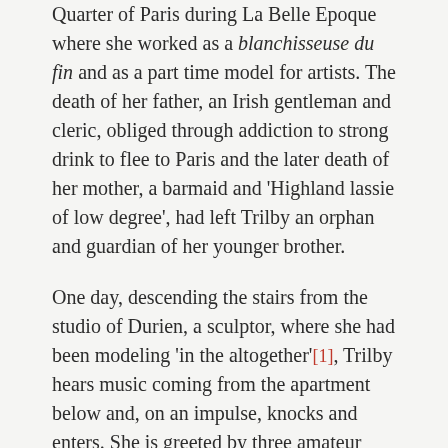Quarter of Paris during La Belle Epoque where she worked as a blanchisseuse du fin and as a part time model for artists. The death of her father, an Irish gentleman and cleric, obliged through addiction to strong drink to flee to Paris and the later death of her mother, a barmaid and 'Highland lassie of low degree', had left Trilby an orphan and guardian of her younger brother.
One day, descending the stairs from the studio of Durien, a sculptor, where she had been modeling 'in the altogether'[1], Trilby hears music coming from the apartment below and, on an impulse, knocks and enters. She is greeted by three amateur artists, Sandy, a bearded Scot and occupant of the studio and his two friends, Taffy, a good-humoured Yorkshireman, and Little Billee, a slender, sentimental young man of twenty years. Trilby's outfit, an army overcoat over a petticoat and a pair of man's shoes, her self-confidence and…